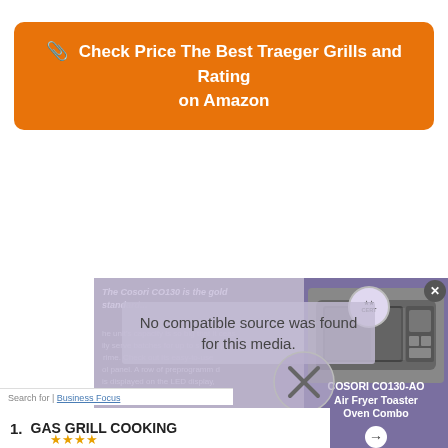Check Price The Best Traeger Grills and Rating on Amazon
[Figure (screenshot): Video/media player overlay showing 'No compatible source was found for this media.' message with an X close button, overlaid on a product page about COSORI CO130-AO Air Fryer Toaster Oven Combo. Background shows text about the product and a product image on the right side with a purple/lavender banner.]
Search for | Business Focus
1. GAS GRILL COOKING